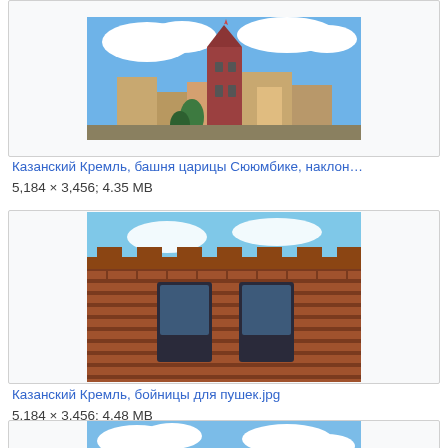[Figure (photo): Kazan Kremlin tower with red brick architecture against blue sky with clouds]
Казанский Кремль, башня царицы Сююмбике, наклон…
5,184 × 3,456; 4.35 MB
[Figure (photo): Kazan Kremlin brick wall with embrasures/gun ports]
Казанский Кремль, бойницы для пушек.jpg
5,184 × 3,456; 4.48 MB
[Figure (photo): Kazan Kremlin mosque with minarets against blue sky with clouds - partially visible]